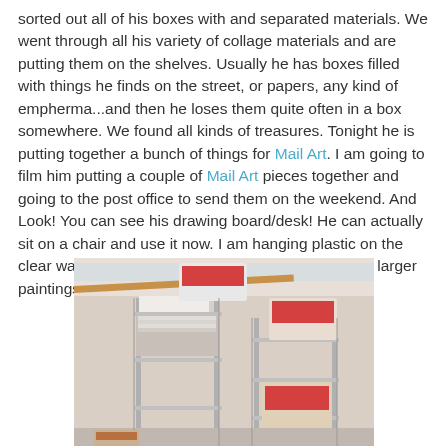sorted out all of his boxes with and separated materials. We went through all his variety of collage materials and are putting them on the shelves. Usually he has boxes filled with things he finds on the street, or papers, any kind of empherma...and then he loses them quite often in a box somewhere. We found all kinds of treasures. Tonight he is putting together a bunch of things for Mail Art. I am going to film him putting a couple of Mail Art pieces together and going to the post office to send them on the weekend. And Look! You can see his drawing board/desk! He can actually sit on a chair and use it now. I am hanging plastic on the clear wall next to it, to protect the wall, so he can do larger paintings and drip or spill with no worries.
[Figure (photo): A photograph of wire metal shelving units with boxes and items stored on them, including what appears to be a long wooden rod or dowel, cardboard boxes with red markings, and various stored materials in what looks like a storage room or art studio.]